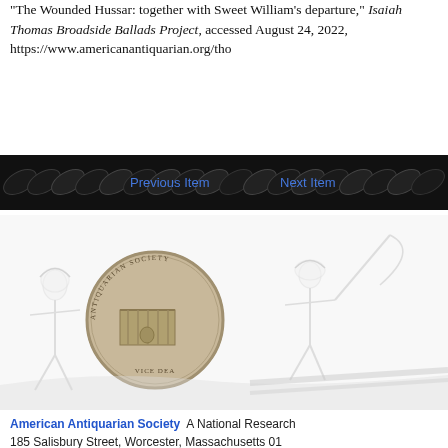"The Wounded Hussar: together with Sweet William's departure," Isaiah Thomas Broadside Ballads Project, accessed August 24, 2022, https://www.americanantiquarian.org/tho
[Figure (other): Navigation bar with decorative repeating oval/leaf motif background, with 'Previous Item' and 'Next Item' links overlaid in blue text]
[Figure (illustration): Decorative institutional illustration showing figures in historical dress (a person with a scythe on the right, figures on the left) with a central medallion/seal coin of the American Antiquarian Society featuring a seated figure before a building facade]
American Antiquarian Society  A National Research  185 Salisbury Street, Worcester, Massachusetts 01  Tel: 508-755-5221 Fax: 508-753-3311 library@ame